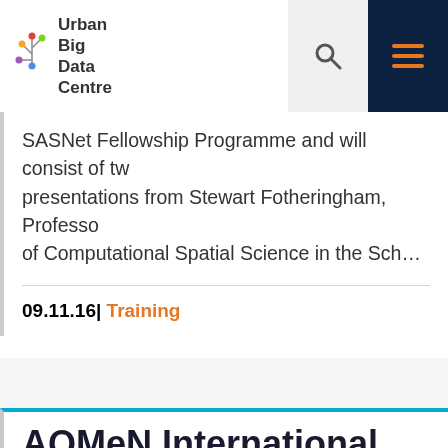Urban Big Data Centre
SASNet Fellowship Programme and will consist of tw... presentations from Stewart Fotheringham, Professo... of Computational Spatial Science in the Sch...
09.11.16 | Training
AQMeN International